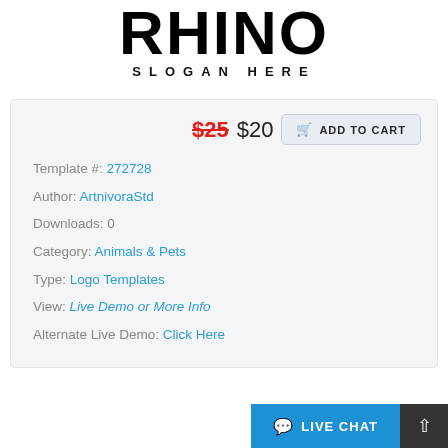[Figure (logo): RHINO logo with large bold black text and slogan 'SLOGAN HERE' beneath it]
SLOGAN HERE
$25 $20  ADD TO CART
Template #: 272728
Author: ArtnivoraStd
Downloads: 0
Category: Animals & Pets
Type: Logo Templates
View: Live Demo or More Info
Alternate Live Demo: Click Here
LIVE CHAT